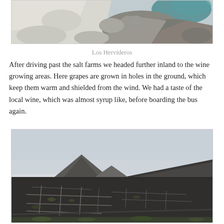[Figure (photo): Aerial or close-up view of rocky coastal landscape at Los Hervideros, showing light-coloured volcanic rocks with teal-blue water visible in background]
Los Hervideros
After driving past the salt farms we headed further inland to the wine growing areas. Here grapes are grown in holes in the ground, which keep them warm and shielded from the wind. We had a taste of the local wine, which was almost syrup like, before boarding the bus again.
[Figure (photo): Landscape photograph of volcanic wine growing region showing black lava fields with small stone-walled enclosures arranged in a grid pattern for grape growing, with volcanic mountains in the background under a pale sky]